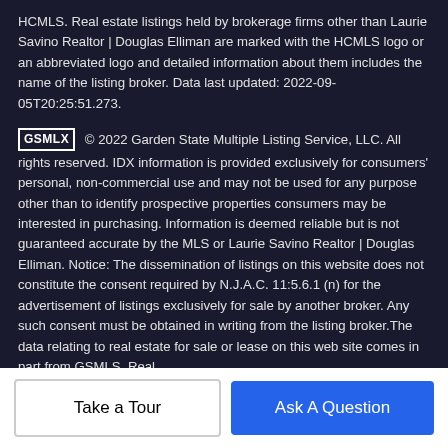HCMLS. Real estate listings held by brokerage firms other than Laurie Savino Realtor | Douglas Elliman are marked with the HCMLS logo or an abbreviated logo and detailed information about them includes the name of the listing broker. Data last updated: 2022-09-05T20:25:51.273.
GSMLX © 2022 Garden State Multiple Listing Service, LLC. All rights reserved. IDX information is provided exclusively for consumers' personal, non-commercial use and may not be used for any purpose other than to identify prospective properties consumers may be interested in purchasing. Information is deemed reliable but is not guaranteed accurate by the MLS or Laurie Savino Realtor | Douglas Elliman. Notice: The dissemination of listings on this website does not constitute the consent required by N.J.A.C. 11:5.6.1 (n) for the advertisement of listings exclusively for sale by another broker. Any such consent must be obtained in writing from the listing broker.The data relating to real estate for sale or lease on this web site comes in part from GSMLS. Real estate listings held by brokerage firms other than...
Take a Tour
Ask A Question